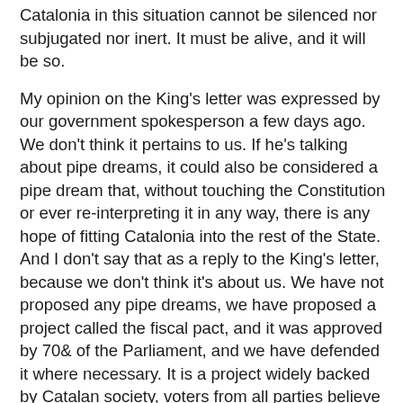Catalonia in this situation cannot be silenced nor subjugated nor inert. It must be alive, and it will be so.
My opinion on the King's letter was expressed by our government spokesperson a few days ago. We don't think it pertains to us. If he's talking about pipe dreams, it could also be considered a pipe dream that, without touching the Constitution or ever re-interpreting it in any way, there is any hope of fitting Catalonia into the rest of the State. And I don't say that as a reply to the King's letter, because we don't think it's about us. We have not proposed any pipe dreams, we have proposed a project called the fiscal pact, and it was approved by 70& of the Parliament, and we have defended it where necessary. It is a project widely backed by Catalan society, voters from all parties believe in it. That cannot be considered a pipe dream, the way we see it, the King cannot allude to it as a pipe dream, and thus we feel he cannot be talking about us.
Q: With respect to the calm and constructive debate that you are asking be held within the General Policy Debate, you said last week that a definitive No from Spain or the state to the fiscal pact would open the door to freedom